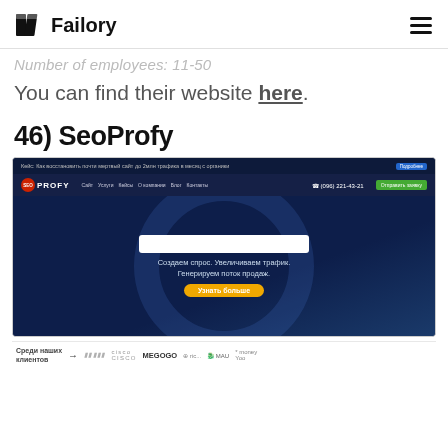Failory
Number of employees: 11-50
You can find their website here.
46) SeoProfy
[Figure (screenshot): Screenshot of the SeoProfy website homepage showing a dark blue background with navigation bar including logo, menu items, phone number (096) 221-43-21, and a green CTA button. The main content shows a search input bar and Russian text: Создаем спрос. Увеличиваем трафик. Генерируем поток продаж. with a yellow Learn More button. Below is a clients bar showing logos including Cisco, MEGOGO, and others.]
Среди наших клиентов